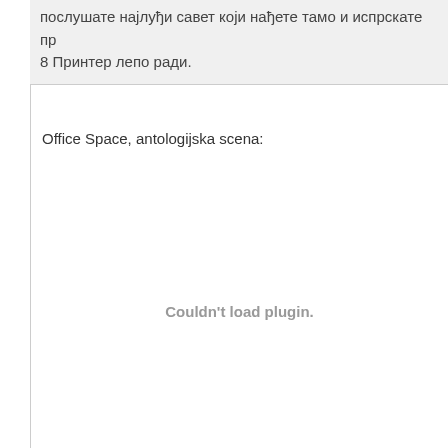послушате најлуђи савет који нађете тамо и испрскате пр
8 Принтер лепо ради.
Office Space, antologijska scena:
[Figure (other): Couldn't load plugin. — embedded video or plugin area that failed to load]